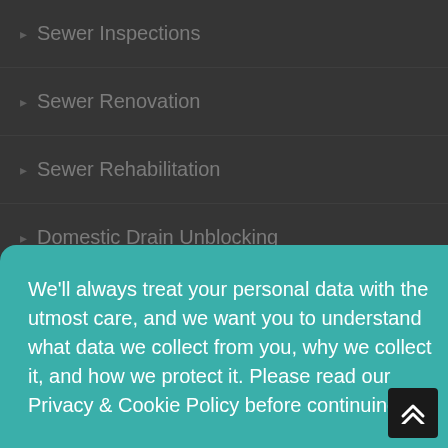▸ Sewer Inspections
▸ Sewer Renovation
▸ Sewer Rehabilitation
▸ Domestic Drain Unblocking
We'll always treat your personal data with the utmost care, and we want you to understand what data we collect from you, why we collect it, and how we protect it. Please read our Privacy & Cookie Policy before continuing.
Read Our Privacy and Cookie Policy
Decline
Accept